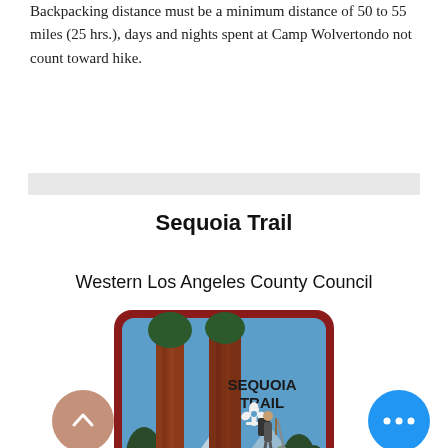Backpacking distance must be a minimum distance of 50 to 55 miles (25 hrs.), days and nights spent at Camp Wolvertondo not count toward hike.
Sequoia Trail
Western Los Angeles County Council
[Figure (illustration): Scout merit badge patch for Sequoia Trail showing tall sequoia trees, a hiker with backpack and walking pole, and the BSA fleur-de-lis symbol. Text reads SEQUOIA TRAIL. Red border around the square patch.]